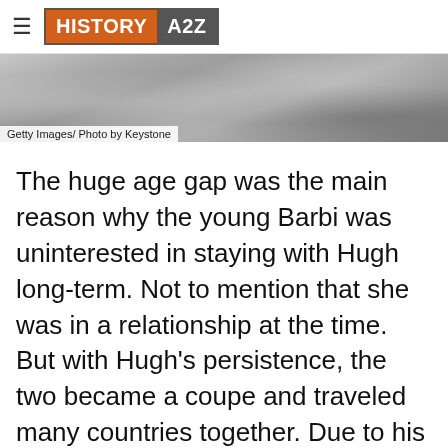HISTORY A2Z
[Figure (photo): Black and white photograph, partially cropped, showing a person with floral pattern fabric visible]
Getty Images/ Photo by Keystone
The huge age gap was the main reason why the young Barbi was uninterested in staying with Hugh long-term. Not to mention that she was in a relationship at the time. But with Hugh's persistence, the two became a coupe and traveled many countries together. Due to his infidelity, Barbi moved out from the Playboy mansion three times. Obviously,